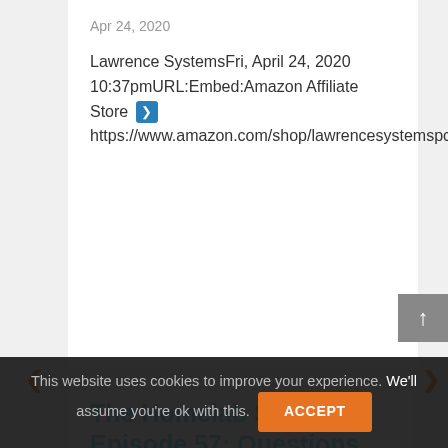Apr 24, 2020
Lawrence SystemsFri, April 24, 2020 10:37pmURL:Embed:Amazon Affiliate Store ➡ https://www.amazon.com/shop/lawrencesystemspcpickup[...]
The Homelab Show Episode 57: Questions and Answers
May 25, 2022
Lawrence SystemsWed, May 25, 2022 4:22pmURL:Embed:https://thehomelab.show/ The sponsor for today's[...]
This website uses cookies to improve your experience. We'll assume you're ok with this.
ACCEPT